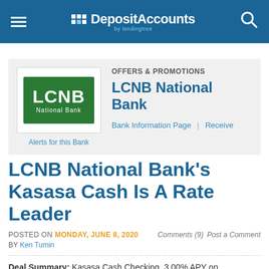DepositAccounts by lendingtree
[Figure (logo): LCNB National Bank logo — white text on green background]
Alerts for this Bank
OFFERS & PROMOTIONS
LCNB National Bank
Bank Information Page | Receive
LCNB National Bank's Kasasa Cash Is A Rate Leader
POSTED ON MONDAY, JUNE 8, 2020 Comments (9) Post a Comment BY Ken Tumin
Deal Summary: Kasasa Cash Checking, 3.00% APY on